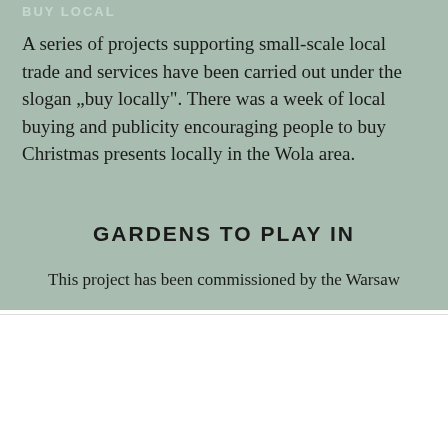BUY LOCAL
A series of projects supporting small-scale local trade and services have been carried out under the slogan „buy locally". There was a week of local buying and publicity encouraging people to buy Christmas presents locally in the Wola area.
GARDENS TO PLAY IN
This project has been commissioned by the Warsaw
Ta strona korzysta z plików cookies. Pozostając na niej, wyrażasz zgodę na korzystanie z cookies.
Ok, rozumiem